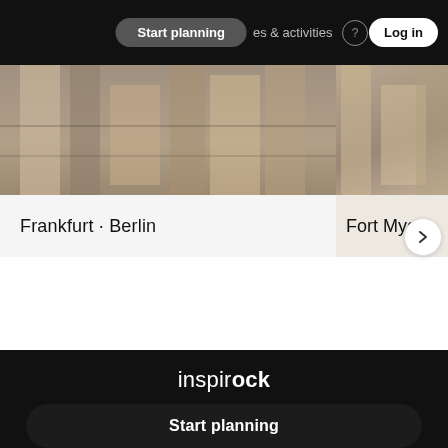Start planning | places & activities | Log in
[Figure (photo): Partial view of a building facade with tan/brown paneling — Frankfurt · Berlin card]
Frankfurt · Berlin
[Figure (photo): Partial view of a building — Fort Myers card (cropped)]
Fort Myers
[Figure (logo): inspirock logo in white on black background]
Start planning